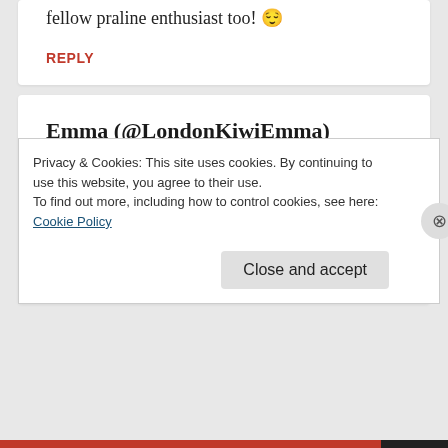fellow praline enthusiast too! 😌
REPLY
Emma (@LondonKiwiEmma) December 5, 2015 — 9:58 pm
Bruges is adorable out of festive season – I bet it's glorious (and you've proven this!) when the
Privacy & Cookies: This site uses cookies. By continuing to use this website, you agree to their use.
To find out more, including how to control cookies, see here: Cookie Policy
Close and accept